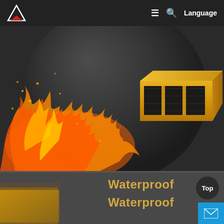Navigation bar with logo, menu, search, and Language
[Figure (photo): Hero image showing a yellow rectangular hollow FRP (fiberglass reinforced polymer) pultruded tube/profile displayed inside a dark sphere, with dramatic orange fire flames surrounding it on a dark background, suggesting fire resistance of the material.]
Waterproof
Waterproof